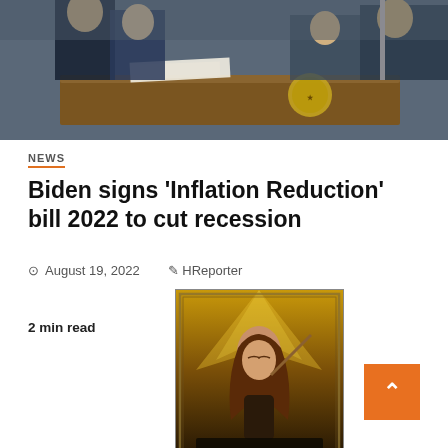[Figure (photo): Photo of Biden signing ceremony at presidential desk with officials in suits standing behind]
NEWS
Biden signs ‘Inflation Reduction’ bill 2022 to cut recession
August 19, 2022  HReporter
2 min read
[Figure (photo): Book cover: A Brother's Dilemma by Becky Surdenik, fantasy novel cover with young woman holding weapon against golden light background]